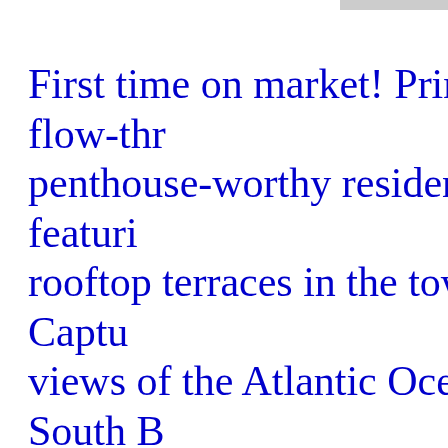First time on market! Prime flow-through penthouse-worthy residence featuring rooftop terraces in the tower. Capturing views of the Atlantic Ocean, South Beach Island and golf course, parading cruise panoramic sunsets over the skyline and outdoor living areas comprised of n... Upgraded by Rockstar Design, the Kreon & Luminaire lighting and furn... media, custom designed Italian kitc... Enjoy five-star resort amenities inclu... access, an 22K SQFT wellness cen... spa services, yoga, Pilates, spinnin... lagoon Olympic pools, 3 Har-Tru te...